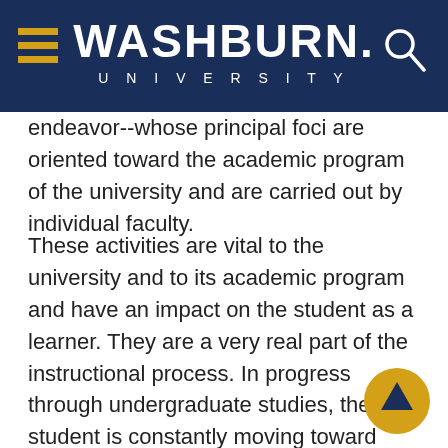WASHBURN UNIVERSITY
endeavor--whose principal foci are oriented toward the academic program of the university and are carried out by individual faculty.
These activities are vital to the university and to its academic program and have an impact on the student as a learner. They are a very real part of the instructional process. In progress through undergraduate studies, the student is constantly moving toward more and more independent learning and learns that research and creative endeavor are necessary elements in the learning process. Students must have models of ongoing scholarly activity in which they can see the possibilities for their own creative talents. Faculty engaged in